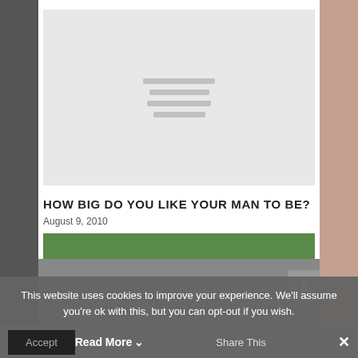[Figure (illustration): Grey placeholder image box with three horizontal lines in the center indicating a loading or missing image placeholder]
HOW BIG DO YOU LIKE YOUR MAN TO BE?
August 9, 2010
[Figure (photo): Green vegetation/nature strip, partially visible]
This website uses cookies to improve your experience. We'll assume you're ok with this, but you can opt-out if you wish.
Accept  Read More  Share This  ✕